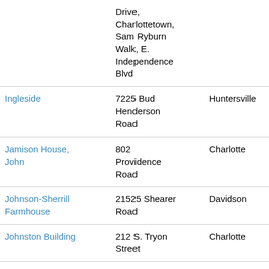| Name | Address | City | ID |
| --- | --- | --- | --- |
|  | Drive, Charlottetown, Sam Ryburn Walk, E. Independence Blvd |  | and 12... |
| Ingleside | 7225 Bud Henderson Road | Huntersville | 0150211... |
| Jamison House, John | 802 Providence Road | Charlotte | 1550510... |
| Johnson-Sherrill Farmhouse | 21525 Shearer Road | Davidson | 0030510... |
| Johnston Building | 212 S. Tryon Street | Charlotte | 0730161... |
| Johnston Mill | 3315 N. Davidson Street | Charlotte | 09110101... 09110150... |
| Jones House | 201 Cherokee... | Charlotte | 1550740... |